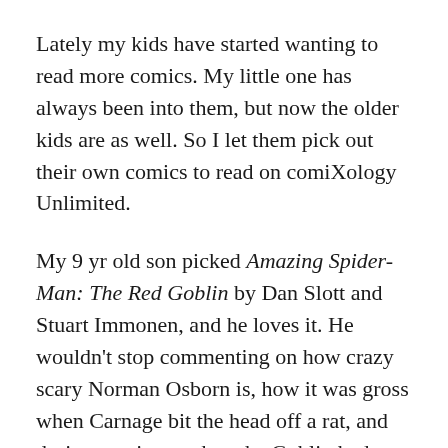Lately my kids have started wanting to read more comics. My little one has always been into them, but now the older kids are as well. So I let them pick out their own comics to read on comiXology Unlimited.
My 9 yr old son picked Amazing Spider-Man: The Red Goblin by Dan Slott and Stuart Immonen, and he loves it. He wouldn't stop commenting on how crazy scary Norman Osborn is, how it was gross when Carnage bit the head off a rat, and during one issue when the Goblin had a captive and was interrogating him, he wondered aloud over who it was, making guesses and gasping when he found